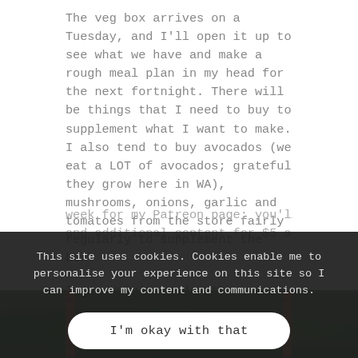The veg box arrives on a Tuesday, and I'll open it up to see what we have and make a rough meal plan in my head for the next fortnight. There will be things that I need to buy to supplement what I want to make. I also tend to buy avocados (we eat a LOT of avocados; grateful they grow here in WA), mushrooms, onions, garlic and tomatoes from the store fairly regularly to supplement the box.
In my veggie garden there is always a variety of greens, plenty of herbs, chillis and some seasonal vegetables. (I recorded a garden tour video last week for my Patreon page; you'll get access to this and additional content for $5 a month.)
This site uses cookies. Cookies enable me to personalise your experience on this site so I can improve my content and communications.
I'm okay with that
[Figure (photo): Partial photo of a bowl of vegetables including broccoli and peppers, with brick border visible on sides]